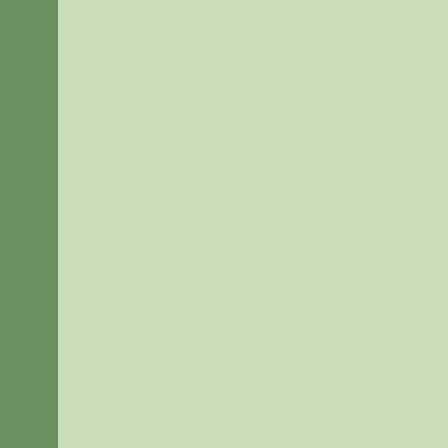Three Consecutive Y
The imprisonme
Adultery
Must be able to ... to be difficult.
In Holmes' and Cruise's ca New York. Many believe th split. In the petition, Holme irreconcilable differences. be moved to California.
Cruise and Holmes have a major issue in their divorce certainly be custody of thei “appropriate” child support
Iowa: a No Fault
Iowa is considered a no-fa 598.
Officially called “dissolution